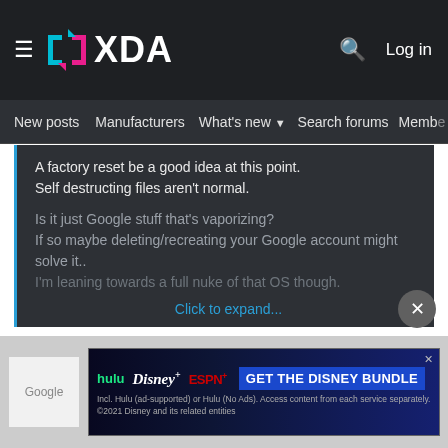≡ XDA  🔍 Log in
New posts  Manufacturers  What's new ▾  Search forums  Membe  >
A factory reset be a good idea at this point.
Self destructing files aren't normal.

Is it just Google stuff that's vaporizing?
If so maybe deleting/recreating your Google account might solve it..
I'm leaning towards a full nuke of that OS though.

Click to expand...
I've done a factory reset earlier but it didn't solve the issue.
All music and the most of the pictures downloaded from Google Drive are removed all the time.
[Figure (screenshot): Disney Bundle advertisement: hulu, Disney+, ESPN+ logos with 'GET THE DISNEY BUNDLE' CTA button. Fine print: Incl. Hulu (ad-supported) or Hulu (No Ads). Access content from each service separately. ©2021 Disney and its related entities]